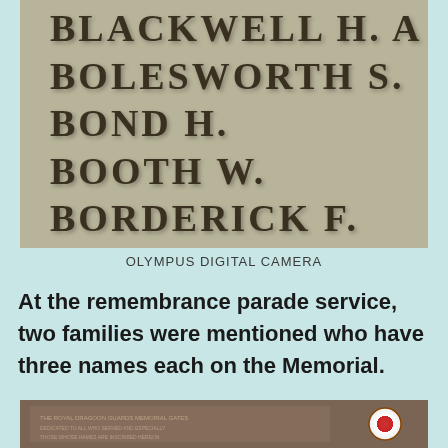[Figure (photo): Close-up photograph of a stone war memorial with carved names: BLACKWELL H. A., BOLESWORTH S., BOND H., BOOTH W., BORDERICK F.]
OLYMPUS DIGITAL CAMERA
At the remembrance parade service, two families were mentioned who have three names each on the Memorial.
[Figure (photo): Photograph of a memorial plaque on a stone wall with a badge/emblem visible, text partially visible but illegible.]